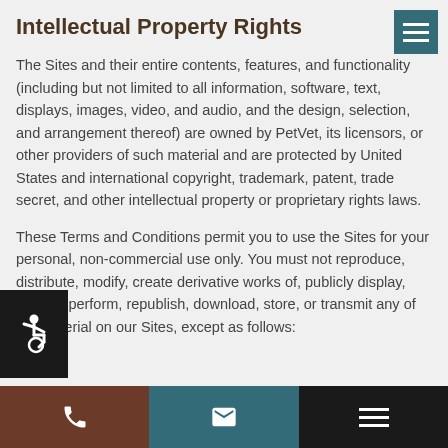Intellectual Property Rights
The Sites and their entire contents, features, and functionality (including but not limited to all information, software, text, displays, images, video, and audio, and the design, selection, and arrangement thereof) are owned by PetVet, its licensors, or other providers of such material and are protected by United States and international copyright, trademark, patent, trade secret, and other intellectual property or proprietary rights laws.
These Terms and Conditions permit you to use the Sites for your personal, non-commercial use only. You must not reproduce, distribute, modify, create derivative works of, publicly display, publicly perform, republish, download, store, or transmit any of the material on our Sites, except as follows:
[Figure (other): Accessibility icon (wheelchair user symbol) in white on black background, overlaid on main content area]
[Figure (other): Navigation menu button with three horizontal white lines on teal background in top right corner]
Phone | Email | Menu — bottom navigation bar with three sections: brown phone icon, teal email icon, black hamburger menu